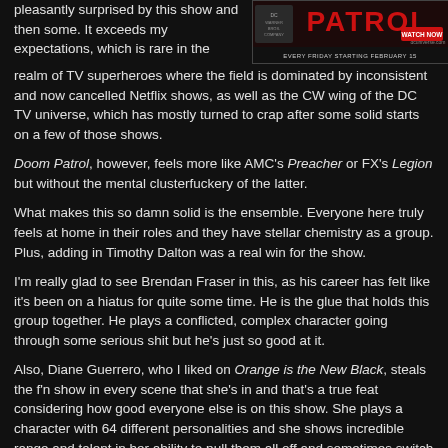pleasantly surprised by this show and then some. It exceeds my expectations, which is rare in the realm of TV superheroes where the field is dominated by inconsistent and now cancelled Netflix shows, as well as the CW wing of the DC TV universe, which has mostly turned to crap after some solid starts on a few of those shows.
[Figure (photo): Doom Patrol promotional banner ad: red title text 'PATROL' on dark background with DC Universe branding, 'EVERY FRIDAY STARTING FEBRUARY 15' text]
Doom Patrol, however, feels more like AMC's Preacher or FX's Legion but without the mental clusterfuckery of the latter.
What makes this so damn solid is the ensemble. Everyone here truly feels at home in their roles and they have stellar chemistry as a group. Plus, adding in Timothy Dalton was a real win for the show.
I'm really glad to see Brendan Fraser in this, as his career has felt like it's been on a hiatus for quite some time. He is the glue that holds this group together. He plays a conflicted, complex character going through some serious shit but he's just so good at it.
Also, Diane Guerrero, who I liked on Orange is the New Black, steals the f'n show in every scene that she's in and that's a true feat considering how good everyone else is on this show. She plays a character with 64 different personalities and she shows incredible range and talent in her ability to pull them all off and sometimes switch from personality to personality on a dime. It's